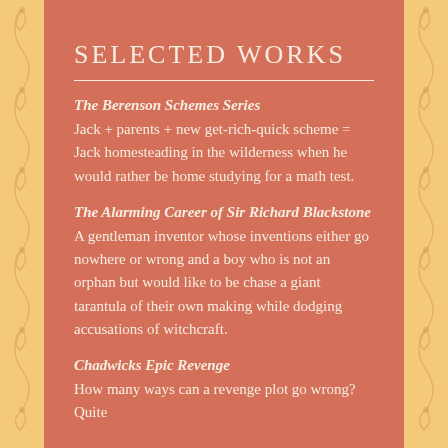SELECTED WORKS
The Berenson Schemes Series
Jack + parents + new get-rich-quick scheme = Jack homesteading in the wilderness when he would rather be home studying for a math test.
The Alarming Career of Sir Richard Blackstone
A gentleman inventor whose inventions either go nowhere or wrong and a boy who is not an orphan but would like to be chase a giant tarantula of their own making while dodging accusations of witchcraft.
Chadwicks Epic Revenge
How many ways can a revenge plot go wrong? Quite